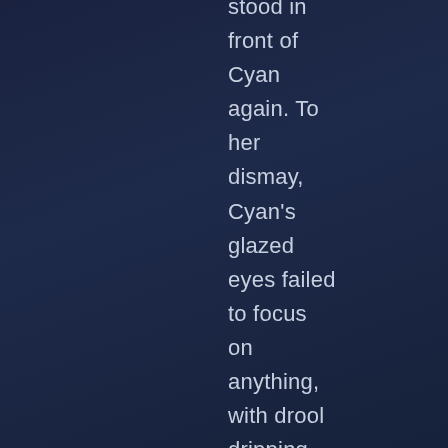stood in front of Cyan again. To her dismay, Cyan's glazed eyes failed to focus on anything, with drool dripping from her mouth. She was clean, her injuries fixed, although